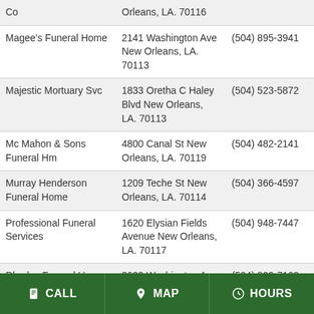| Name | Address | Phone |
| --- | --- | --- |
| Co | Orleans, LA. 70116 |  |
| Magee's Funeral Home | 2141 Washington Ave New Orleans, LA. 70113 | (504) 895-3941 |
| Majestic Mortuary Svc | 1833 Oretha C Haley Blvd New Orleans, LA. 70113 | (504) 523-5872 |
| Mc Mahon & Sons Funeral Hm | 4800 Canal St New Orleans, LA. 70119 | (504) 482-2141 |
| Murray Henderson Funeral Home | 1209 Teche St New Orleans, LA. 70114 | (504) 366-4597 |
| Professional Funeral Services | 1620 Elysian Fields Avenue New Orleans, LA. 70117 | (504) 948-7447 |
| Rhodes Funeral Home | 3933 Washington Ave New Orleans, LA. 70125 | (504) 822-7162 |
| Rhodes Funeral Home | 1716 N Claiborne Ave New Orleans, LA. 70116 | (504) 943-6621 |
| Richardson Funeral Homes | 11112 Jefferson Hwy New Orleans, LA. 70123 | (504) 469-2243 |
| Stewart Enterprises Inc | Po Box 19925 New Orleans, LA. 70178 | (504) 837-5880 |
CALL   MAP   HOURS